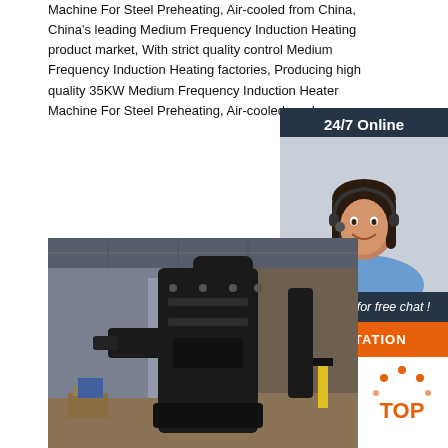Machine For Steel Preheating, Air-cooled from China, China's leading Medium Frequency Induction Heating product market, With strict quality control Medium Frequency Induction Heating factories, Producing high quality 35KW Medium Frequency Induction Heater Machine For Steel Preheating, Air-cooled prod...
[Figure (illustration): Orange 'Get Price' button]
[Figure (photo): Customer service representative with headset, smiling, overlaid on dark navy background with '24/7 Online' header, 'Click here for free chat!' text, and orange QUOTATION button]
[Figure (photo): Industrial factory floor photo showing large black heavy machinery equipment (induction heater/forge press) in a manufacturing facility]
[Figure (logo): Orange TOP badge/icon in bottom right corner]